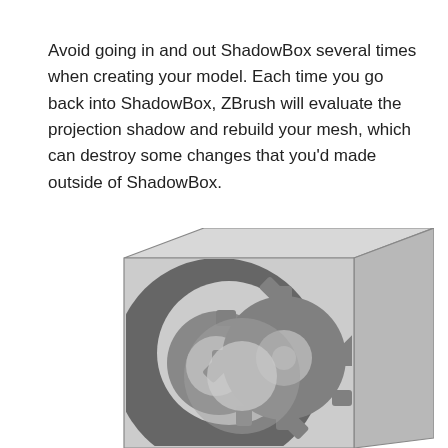Avoid going in and out ShadowBox several times when creating your model. Each time you go back into ShadowBox, ZBrush will evaluate the projection shadow and rebuild your mesh, which can destroy some changes that you'd made outside of ShadowBox.
[Figure (illustration): A 3D box rendered in grayscale showing a ZBrush ShadowBox with a gear/cog and circular logo silhouette projected onto its front face. The box has a light gray top face, medium gray right face, and front face containing dark gray overlapping shapes of a crescent-like form and a gear wheel.]